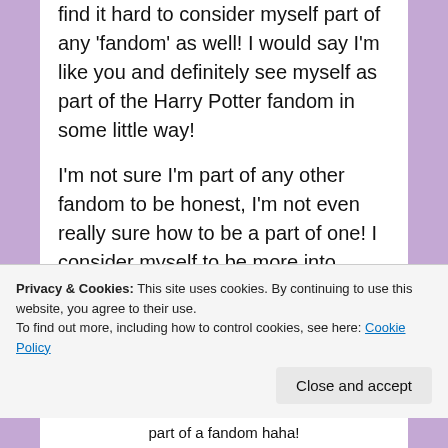find it hard to consider myself part of any 'fandom' as well! I would say I'm like you and definitely see myself as part of the Harry Potter fandom in some little way!
I'm not sure I'm part of any other fandom to be honest, I'm not even really sure how to be a part of one! I consider myself to be more into books and the book community rather than any special niche fandom community if that makes sense?
Loading...
Privacy & Cookies: This site uses cookies. By continuing to use this website, you agree to their use. To find out more, including how to control cookies, see here: Cookie Policy
Close and accept
part of a fandom haha!